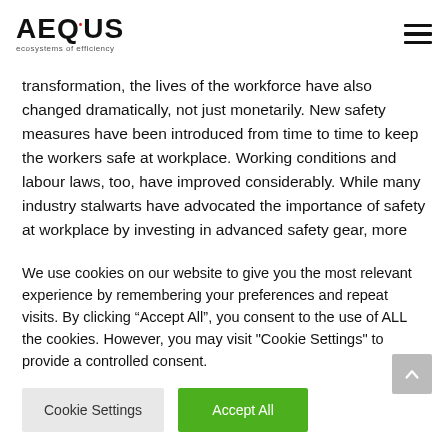AEQUUS ecosystems of efficiency
transformation, the lives of the workforce have also changed dramatically, not just monetarily. New safety measures have been introduced from time to time to keep the workers safe at workplace. Working conditions and labour laws, too, have improved considerably. While many industry stalwarts have advocated the importance of safety at workplace by investing in advanced safety gear, more often than not, the novelty of wearing shining PPE (Personal
We use cookies on our website to give you the most relevant experience by remembering your preferences and repeat visits. By clicking “Accept All”, you consent to the use of ALL the cookies. However, you may visit "Cookie Settings" to provide a controlled consent.